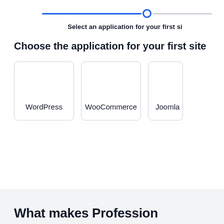[Figure (infographic): Step progress bar with a filled blue line on the left, a blue circle dot in the middle, and a gray empty line extending to the right, indicating progress at step 2.]
Select an application for your first si
Choose the application for your first site
WordPress
WooCommerce
Joomla
What makes Profession